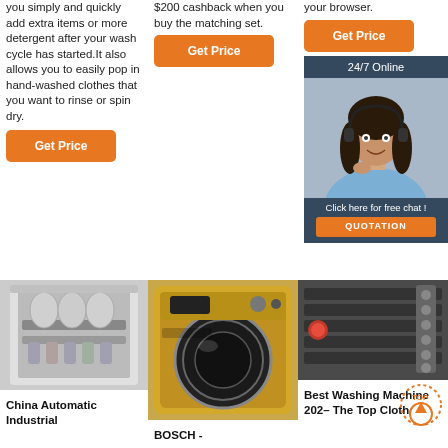you simply and quickly add extra items or more detergent after your wash cycle has started.It also allows you to easily pop in hand-washed clothes that you want to rinse or spin dry.
[Figure (other): Orange 'Get Price' button]
$200 cashback when you buy the matching set.
[Figure (other): Orange 'Get Price' button]
your browser.
[Figure (other): Orange 'Get Price' button]
[Figure (other): 24/7 Online chat widget with customer service representative photo, 'Click here for free chat!' text, and orange QUOTATION button]
[Figure (photo): China Automatic Industrial dishwasher open showing dishes inside]
China Automatic Industrial
[Figure (photo): BOSCH front-loading washing machine in gold/champagne color]
BOSCH -
[Figure (photo): Industrial washing machine interior/panel close-up]
Best Washing Machine 2020 The Top Clothes